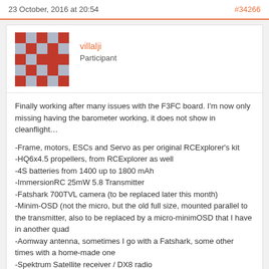23 October, 2016 at 20:54   #34266
[Figure (other): User avatar image: pixel art style icon with red and grey/blue squares forming an abstract pattern]
villalji
Participant
Finally working after many issues with the F3FC board. I'm now only missing having the barometer working, it does not show in cleanflight…

-Frame, motors, ESCs and Servo as per original RCExplorer's kit
-HQ6x4.5 propellers, from RCExplorer as well
-4S batteries from 1400 up to 1800 mAh
-ImmersionRC 25mW 5.8 Transmitter
-Fatshark 700TVL camera (to be replaced later this month)
-Minim-OSD (not the micro, but the old full size, mounted parallel to the transmitter, also to be replaced by a micro-minimOSD that I have in another quad
-Aomway antenna, sometimes I go with a Fatshark, some other times with a home-made one
-Spektrum Satellite receiver / DX8 radio
-Red wire mesh on front esc cables and foam legs on each arm
Attachments: